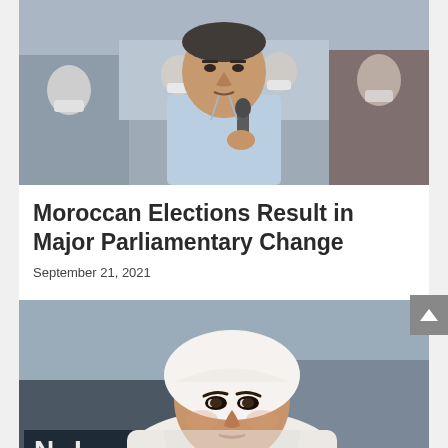[Figure (photo): A man in a light blue shirt speaking into a microphone at what appears to be a public gathering. People wearing face masks are visible in the background.]
Moroccan Elections Result in Major Parliamentary Change
September 21, 2021
[Figure (photo): A woman wearing a white hijab looking directly at the camera at what appears to be a public or political event.]